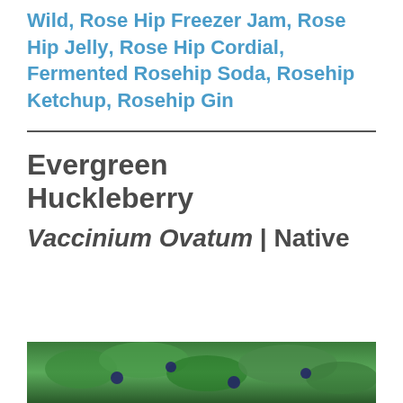Wild, Rose Hip Freezer Jam, Rose Hip Jelly, Rose Hip Cordial, Fermented Rosehip Soda, Rosehip Ketchup, Rosehip Gin
Evergreen Huckleberry
Vaccinium Ovatum | Native
[Figure (photo): Close-up photo of green huckleberry plant with leaves and berries]